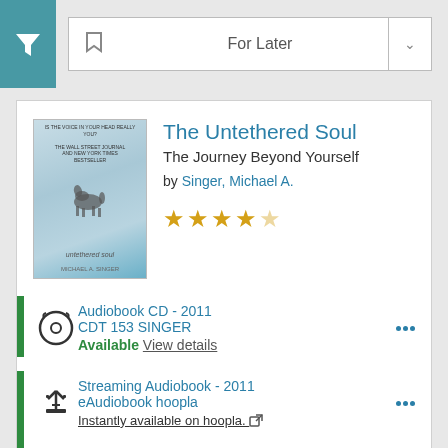[Figure (screenshot): Filter button (funnel icon) in teal square, followed by 'For Later' dropdown with bookmark icon and caret]
[Figure (illustration): Book cover for The Untethered Soul showing a minimalist scene with a horse silhouette over a light blue/grey background]
The Untethered Soul
The Journey Beyond Yourself
by Singer, Michael A.
[Figure (other): 4 out of 5 star rating shown as golden stars]
Audiobook CD - 2011
CDT 153 SINGER
Available View details
Streaming Audiobook - 2011
eAudiobook hoopla
Instantly available on hoopla.